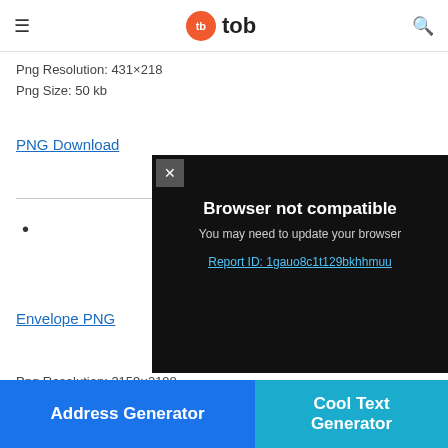tb tob
Png Resolution: 431×218
Png Size: 50 kb
PNG Download
•
[Figure (screenshot): Modal dialog with dark background showing 'Browser not compatible' message, 'You may need to update your browser', and a link 'Report ID: 1gauo8c1t129bkhhmuu'. Has an X close button in top-left corner.]
Envelope PNG
Powered by GliaStudio
Png Resolution: 3159×2198
Address Generator
Cool Text Generator